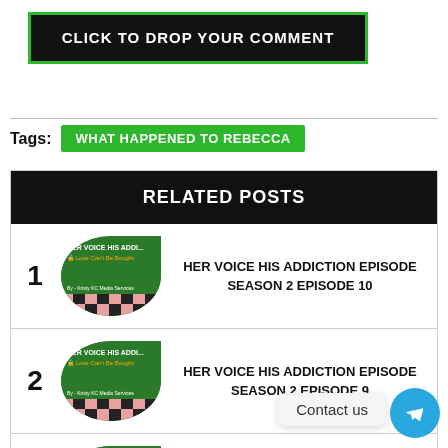CLICK TO DROP YOUR COMMENT
Tags: WHAT HAPPENED TO REBECCA
RELATED POSTS
1 HER VOICE HIS ADDICTION EPISODE SEASON 2 EPISODE 10
2 HER VOICE HIS ADDICTION EPISODE SEASON 2 EPISODE 9
3
Contact us